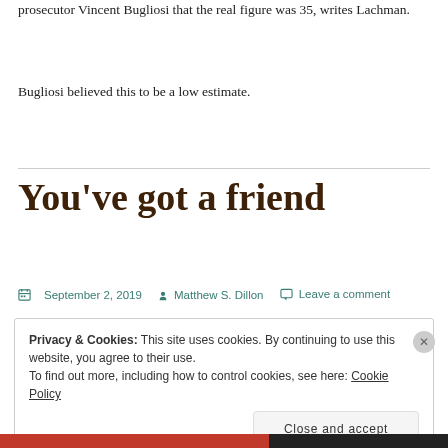prosecutor Vincent Bugliosi that the real figure was 35, writes Lachman.
Bugliosi believed this to be a low estimate.
You’ve got a friend
September 2, 2019  Matthew S. Dillon  Leave a comment
Privacy & Cookies: This site uses cookies. By continuing to use this website, you agree to their use.
To find out more, including how to control cookies, see here: Cookie Policy
Close and accept